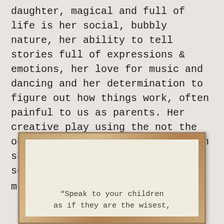daughter, magical and full of life is her social, bubbly nature, her ability to tell stories full of expressions & emotions, her love for music and dancing and her determination to figure out how things work, often painful to us as parents. Her creative play using the not the obvious props and her humour when she mimics me when I'm being serious " are you kidding me mummy? "😁
[Figure (photo): A framed wooden sign with text reading: "Speak to your children as if they are the wisest,"]